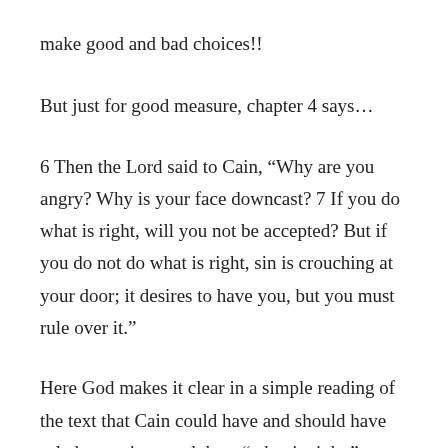make good and bad choices!!
But just for good measure, chapter 4 says…
6 Then the Lord said to Cain, “Why are you angry? Why is your face downcast? 7 If you do what is right, will you not be accepted? But if you do not do what is right, sin is crouching at your door; it desires to have you, but you must rule over it.”
Here God makes it clear in a simple reading of the text that Cain could have and should have ruled over sin… and done “what is right.”
Only with the “help” of Mary-worshiping, saint-